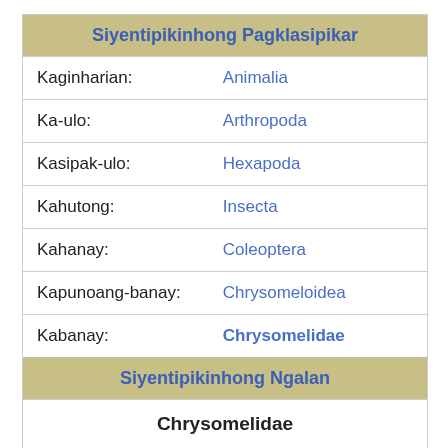| Siyentipikinhong Pagklasipikar |  |
| --- | --- |
| Kaginharian: | Animalia |
| Ka-ulo: | Arthropoda |
| Kasipak-ulo: | Hexapoda |
| Kahutong: | Insecta |
| Kahanay: | Coleoptera |
| Kapunoang-banay: | Chrysomeloidea |
| Kabanay: | Chrysomelidae |
| Siyentipikinhong Ngalan |  |
| Chrysomelidae |  |